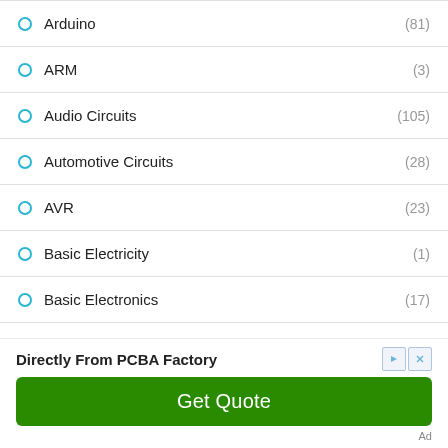Arduino (81)
ARM (3)
Audio Circuits (105)
Automotive Circuits (28)
AVR (23)
Basic Electricity (1)
Basic Electronics (17)
[Figure (other): Advertisement banner: Directly From PCBA Factory with Get Quote button]